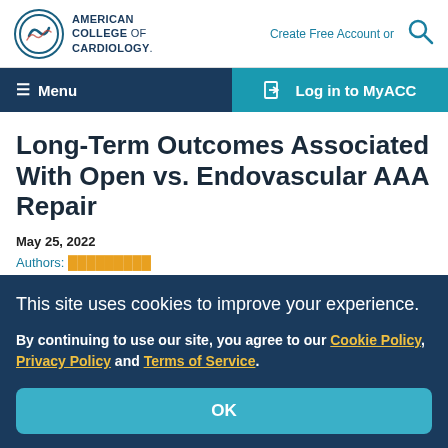AMERICAN COLLEGE of CARDIOLOGY. Create Free Account or
Menu | Log in to MyACC
Long-Term Outcomes Associated With Open vs. Endovascular AAA Repair
May 25, 2022
This site uses cookies to improve your experience.

By continuing to use our site, you agree to our Cookie Policy, Privacy Policy and Terms of Service.
OK